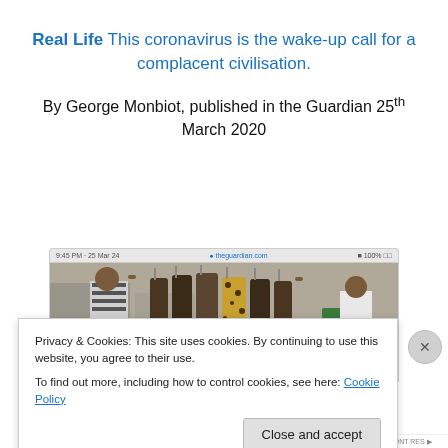Real Life This coronavirus is the wake-up call for a complacent civilisation.
By George Monbiot, published in the Guardian 25th March 2020
[Figure (screenshot): Screenshot of a Guardian article page showing a photo of bushmeat hanging at a market — several animal carcasses (including what appears to be a leopard-patterned animal) held up by people near a roadside in Africa.]
Privacy & Cookies: This site uses cookies. By continuing to use this website, you agree to their use.
To find out more, including how to control cookies, see here: Cookie Policy
Close and accept